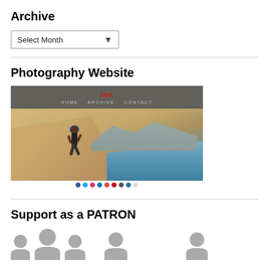Archive
Select Month
Photography Website
[Figure (screenshot): Screenshot of a photography website named 'ian' showing a runner on a sand dune with ocean and mountains in the background. Navigation bar with HOME, ARCHIVE, CONTACT links. Social media icons at the bottom.]
Support as a PATRON
[Figure (illustration): Row of patron/person silhouette icons in gray, partially visible at the bottom of the page.]